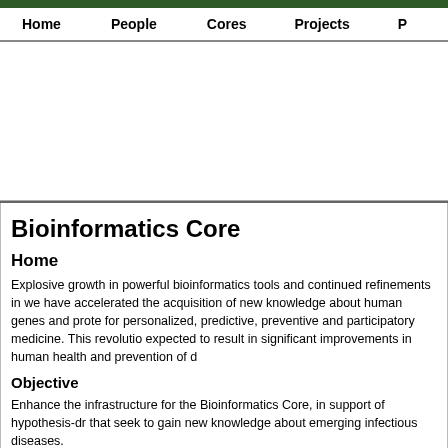Home   People   Cores   Projects   P
Bioinformatics Core
Home
Explosive growth in powerful bioinformatics tools and continued refinements in we have accelerated the acquisition of new knowledge about human genes and prote for personalized, predictive, preventive and participatory medicine. This revolutio expected to result in significant improvements in human health and prevention of d
Objective
Enhance the infrastructure for the Bioinformatics Core, in support of hypothesis-dr that seek to gain new knowledge about emerging infectious diseases.